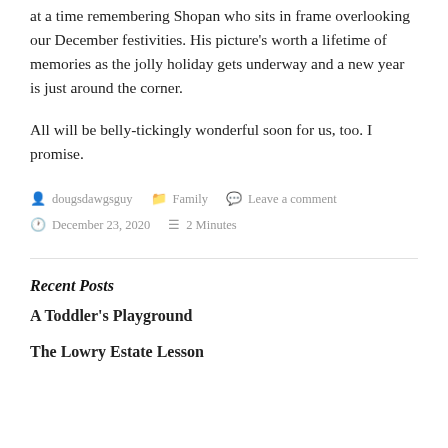at a time remembering Shopan who sits in frame overlooking our December festivities. His picture’s worth a lifetime of memories as the jolly holiday gets underway and a new year is just around the corner.
All will be belly-tickingly wonderful soon for us, too. I promise.
by dougsdawgsguy   Family   Leave a comment   December 23, 2020   2 Minutes
Recent Posts
A Toddler’s Playground
The Lowry Estate Lesson